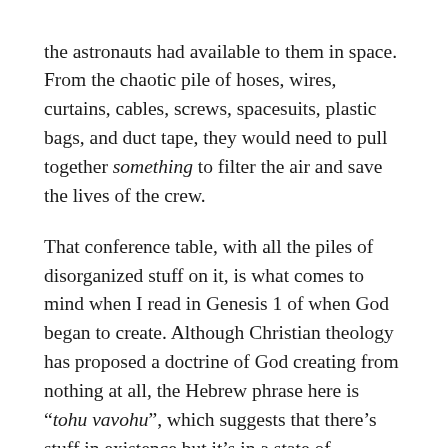the astronauts had available to them in space. From the chaotic pile of hoses, wires, curtains, cables, screws, spacesuits, plastic bags, and duct tape, they would need to pull together something to filter the air and save the lives of the crew.
That conference table, with all the piles of disorganized stuff on it, is what comes to mind when I read in Genesis 1 of when God began to create. Although Christian theology has proposed a doctrine of God creating from nothing at all, the Hebrew phrase here is "tohu vavohu", which suggests that there's stuff in existence but it's in a state of disordered-ness, and so the translation we've just heard is "chaos and emptiness"—tohu vavohu. One